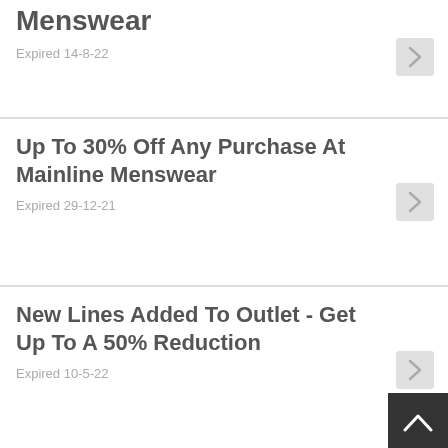Menswear
Expired 14-8-22
Up To 30% Off Any Purchase At Mainline Menswear
Expired 29-12-21
New Lines Added To Outlet - Get Up To A 50% Reduction
Expired 10-5-22
Enjoy Up To 25% Off Calvin Klein In The Mainline Menswear Sale